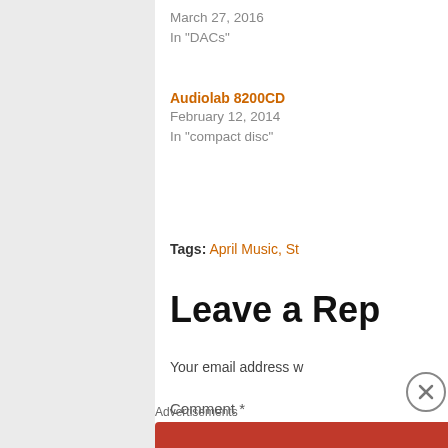March 27, 2016
In "DACs"
Audiolab 8200CD
February 12, 2014
In "compact disc"
Tags: April Music, St
Leave a Rep
Your email address w
Comment *
Advertisements
[Figure (infographic): DuckDuckGo advertisement: Search, browse, and email with more privacy. All in One Free App. Shows a phone with DuckDuckGo logo on orange/red background.]